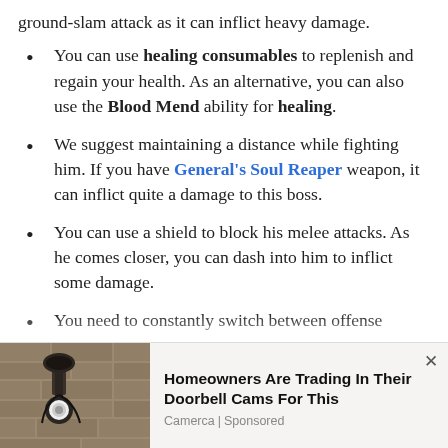ground-slam attack as it can inflict heavy damage.
You can use healing consumables to replenish and regain your health. As an alternative, you can also use the Blood Mend ability for healing.
We suggest maintaining a distance while fighting him. If you have General's Soul Reaper weapon, it can inflict quite a damage to this boss.
You can use a shield to block his melee attacks. As he comes closer, you can dash into him to inflict some damage.
You need to constantly switch between offense
[Figure (photo): Outdoor wall-mounted security camera or light fixture on a stone/brick wall]
Homeowners Are Trading In Their Doorbell Cams For This
Camerca | Sponsored